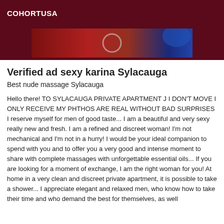COHORTUSA
[Figure (photo): Partial photo showing red tones and a circular object, with blue in the top right corner]
Verified ad sexy karina Sylacauga
Best nude massage Sylacauga
Hello there! TO SYLACAUGA PRIVATE APARTMENT J I DON'T MOVE I ONLY RECEIVE MY PHTHOS ARE REAL WITHOUT BAD SURPRISES I reserve myself for men of good taste... I am a beautiful and very sexy really new and fresh. I am a refined and discreet woman! I'm not mechanical and I'm not in a hurry! I would be your ideal companion to spend with you and to offer you a very good and intense moment to share with complete massages with unforgettable essential oils... If you are looking for a moment of exchange, I am the right woman for you! At home in a very clean and discreet private apartment, it is possible to take a shower... I appreciate elegant and relaxed men, who know how to take their time and who demand the best for themselves, as well